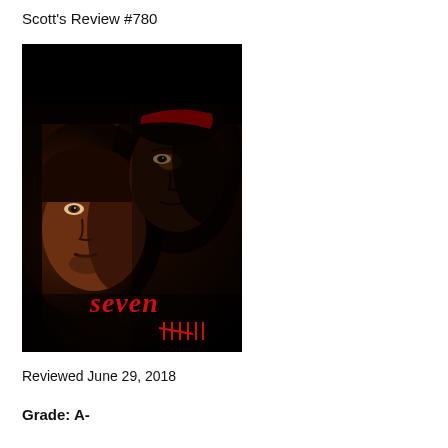Scott's Review #780
[Figure (photo): Movie poster for 'Seven' (Se7en) featuring two faces in dark reddish-brown tones — a younger man on the left and an older man on the right — with the word 'seven' in red stylized text and tally marks at the bottom.]
Reviewed June 29, 2018
Grade: A-